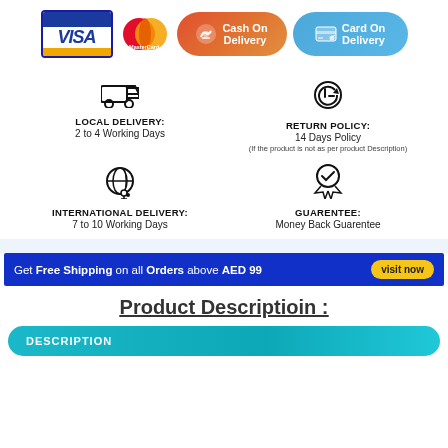[Figure (infographic): Payment method icons: VISA card, MasterCard, Cash On Delivery button, Card On Delivery button]
[Figure (infographic): Four info cells: truck icon for LOCAL DELIVERY 2 to 4 Working Days; gift/return icon for RETURN POLICY 14 Days Policy (If the product is not as per product Description); globe icon for INTERNATIONAL DELIVERY 7 to 10 Working Days; medal icon for GUARENTEE Money Back Guarentee]
[Figure (infographic): Blue banner: Get Free Shipping on all Orders above AED 99, visit now button]
Product Descriptioin :
DESCRIPTION